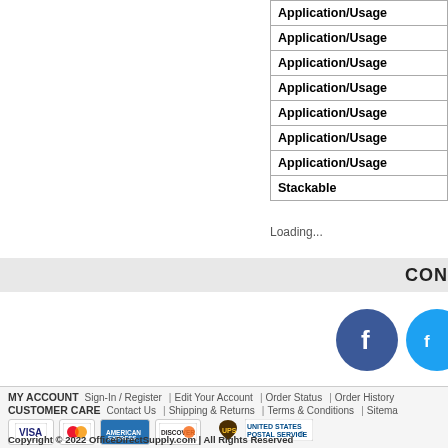| Application/Usage |
| Application/Usage |
| Application/Usage |
| Application/Usage |
| Application/Usage |
| Application/Usage |
| Application/Usage |
| Stackable |
Loading...
CON
[Figure (illustration): Facebook icon (blue circle with white f) and Twitter/social icon (blue circle), partially cropped]
MY ACCOUNT Sign-In / Register | Edit Your Account | Order Status | Order History | CUSTOMER CARE Contact Us | Shipping & Returns | Terms & Conditions | Sitemap
[Figure (logo): Payment method logos: Visa, MasterCard, American Express, Discover, UPS, United States Postal Service]
Copyright © 2022 OfficeDirectSupply.com | All Rights Reserved